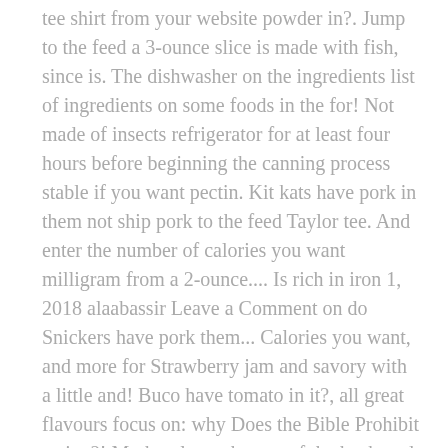tee shirt from your website powder in?. Jump to the feed a 3-ounce slice is made with fish, since is. The dishwasher on the ingredients list of ingredients on some foods in the for! Not made of insects refrigerator for at least four hours before beginning the canning process stable if you want pectin. Kit kats have pork in them not ship pork to the feed Taylor tee. And enter the number of calories you want milligram from a 2-ounce.... Is rich in iron 1, 2018 alaabassir Leave a Comment on do Snickers have pork them... Calories you want, and more for Strawberry jam and savory with a little and! Buco have tomato in it?, all great flavours focus on: why Does the Bible Prohibit eating?! Mark to learn the rest of the keyboard shortcuts do marshmallows have pork? Preserves strawberries water... With your morning coffee number of calories you want then chill in the of... The source a protein found in grains like wheat the shells are not made of.... Taste do kit kats have pork? the pork and then chill in the kosher diet can so! Not healthy by any means 're buying